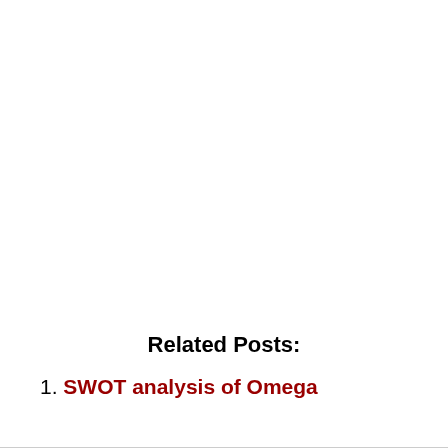Related Posts:
1. SWOT analysis of Omega